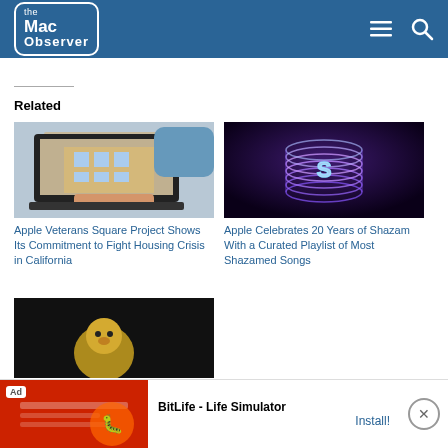the Mac Observer
Related
[Figure (photo): Person using a laptop with a building shown on screen]
Apple Veterans Square Project Shows Its Commitment to Fight Housing Crisis in California
[Figure (photo): Shazam logo — glowing neon cylinder with S on dark purple background]
Apple Celebrates 20 Years of Shazam With a Curated Playlist of Most Shazamed Songs
[Figure (photo): Dark background image, partially visible]
[Figure (screenshot): Ad banner: BitLife - Life Simulator with Install button]